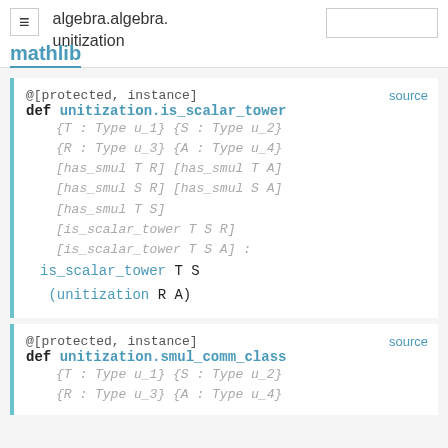algebra.algebra.unitization
@[protected, instance]
def unitization.is_scalar_tower
{T : Type u_1} {S : Type u_2}
{R : Type u_3} {A : Type u_4}
[has_smul T R] [has_smul T A]
[has_smul S R] [has_smul S A]
[has_smul T S]
[is_scalar_tower T S R]
[is_scalar_tower T S A] :
is_scalar_tower T S
(unitization R A)
@[protected, instance]
def unitization.smul_comm_class
{T : Type u_1} {S : Type u_2}
{R : Type u_3} {A : Type u_4}